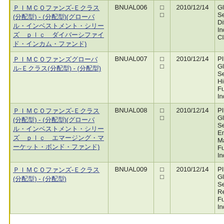| Fund Name (JP) | Code | Flag | Date | Description |
| --- | --- | --- | --- | --- |
| PIMCOファンズ-Eクラス(分配型) - (分配型)(グローバル・インベストメント・シリーズ) | BNUAL006 | □□ | 2010/12/14 | Global Investment Series plc Diversified Income Fund Class E / Income |
| PIMCOファンズグローバル-Eクラス(分配型) - (分配型) | BNUAL007 | □□ | 2010/12/14 | PIMCO Funds Global Investment Series plc US High Yield Bond Fund Class E / Income |
| PIMCOファンズ-Eクラス(分配型) - (分配型)(グローバル・インベストメント・シリーズ) | BNUAL008 | □□ | 2010/12/14 | PIMCO Funds Global Investment Series plc Emerging Markets Bond Fund Class E / Income |
| PIMCOファンズ-Eクラス(分配型) - (分配型) | BNUAL009 | □□ | 2010/12/14 | PIMCO Funds Global Investment Series plc Total Return Bond Fund Class E / Income |